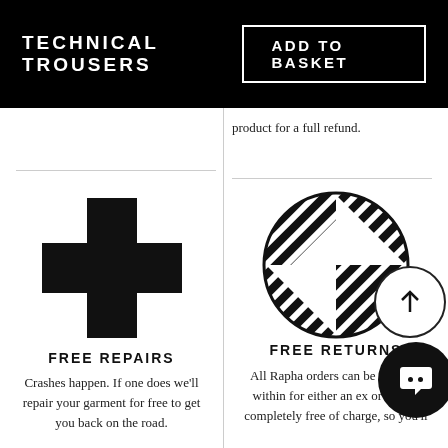TECHNICAL TROUSERS
ADD TO BASKET
product for a full refund.
[Figure (illustration): Black plus/cross symbol representing free repairs service]
FREE REPAIRS
Crashes happen. If one does we'll repair your garment for free to get you back on the road.
[Figure (logo): Circular geometric striped chevron/arrow logo representing free returns]
FREE RETURNS
All Rapha orders can be returned within for either an ex or refund completely free of charge, so you'll